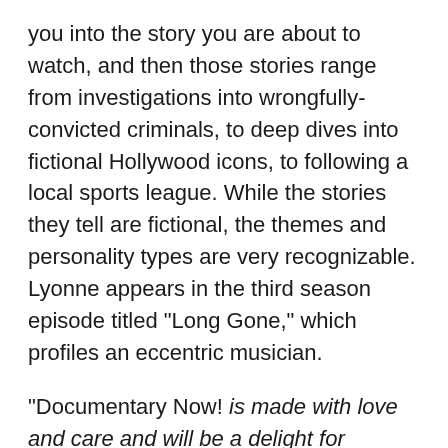you into the story you are about to watch, and then those stories range from investigations into wrongfully-convicted criminals, to deep dives into fictional Hollywood icons, to following a local sports league. While the stories they tell are fictional, the themes and personality types are very recognizable. Lyonne appears in the third season episode titled "Long Gone," which profiles an eccentric musician.
"Documentary Now! is made with love and care and will be a delight for Criterion Collection devotees and Hader and Armisen's fans, but the material may be too rich to appeal to wider audiences." — Bernard Boo, We Got You